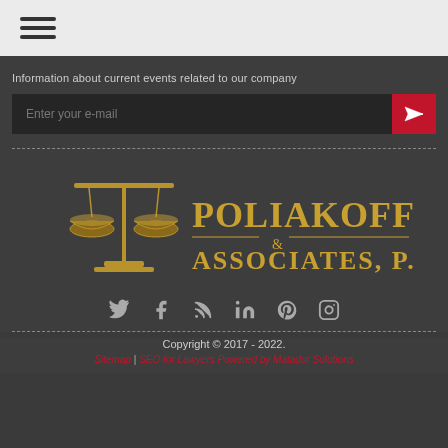[Figure (other): Hamburger menu icon (three horizontal lines) in top navigation bar]
Information about current events related to our company
[Figure (other): Email subscription input field with red submit button containing paper plane icon]
[Figure (logo): Poliakoff & Associates, P.A. logo with gold scales of justice illustration and gold text on dark background]
[Figure (other): Social media icons row: Twitter, Facebook, RSS, LinkedIn, Pinterest, Instagram]
Copyright © 2017 - 2022. Sitemap | SEO for Lawyers Powered by Matador Solutions